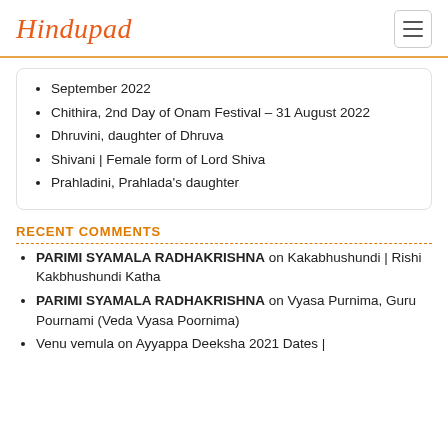Hindupad
September 2022
Chithira, 2nd Day of Onam Festival – 31 August 2022
Dhruvini, daughter of Dhruva
Shivani | Female form of Lord Shiva
Prahladini, Prahlada's daughter
RECENT COMMENTS
PARIMI SYAMALA RADHAKRISHNA on Kakabhushundi | Rishi Kakbhushundi Katha
PARIMI SYAMALA RADHAKRISHNA on Vyasa Purnima, Guru Pournami (Veda Vyasa Poornima)
Venu vemula on Ayyappa Deeksha 2021 Dates |